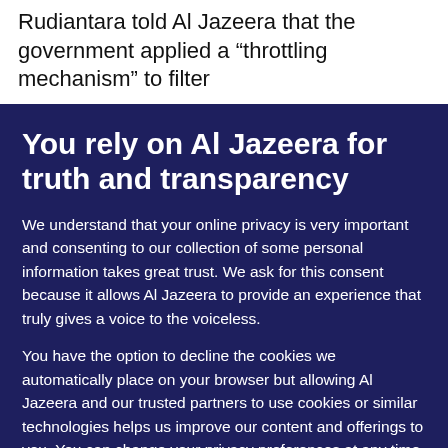Rudiantara told Al Jazeera that the government applied a “throttling mechanism” to filter
You rely on Al Jazeera for truth and transparency
We understand that your online privacy is very important and consenting to our collection of some personal information takes great trust. We ask for this consent because it allows Al Jazeera to provide an experience that truly gives a voice to the voiceless.
You have the option to decline the cookies we automatically place on your browser but allowing Al Jazeera and our trusted partners to use cookies or similar technologies helps us improve our content and offerings to you. You can change your privacy preferences at any time by selecting ‘Cookie preferences’ at the bottom of your screen. To learn more, please view our Cookie Policy.